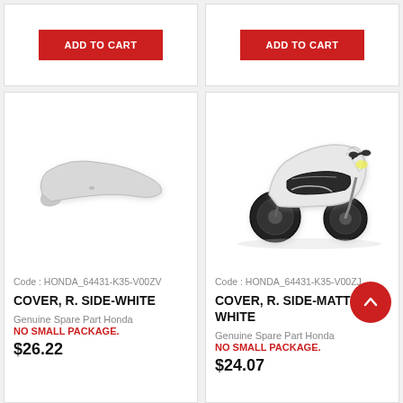[Figure (other): ADD TO CART button - top left card partial]
[Figure (other): ADD TO CART button - top right card partial]
[Figure (photo): White motorcycle side cover panel part photo]
Code : HONDA_64431-K35-V00ZV
COVER, R. SIDE-WHITE
Genuine Spare Part Honda
NO SMALL PACKAGE.
$26.22
[Figure (photo): White Honda PCX scooter full bike photo]
Code : HONDA_64431-K35-V00ZJ
COVER, R. SIDE-MATT WHITE
Genuine Spare Part Honda
NO SMALL PACKAGE.
$24.07